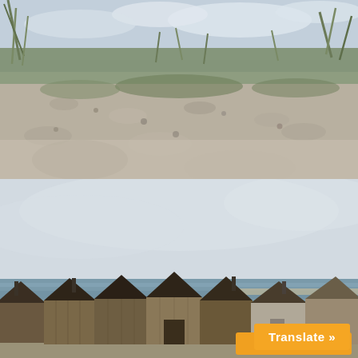[Figure (photo): Close-up ground-level photograph of a sandy beach with small pebbles and sparse green grass/reeds in the background under a cloudy sky. The foreground sand is blurred with shallow depth of field.]
[Figure (photo): Wide landscape photograph of a row of small wooden fishing huts or boat sheds with dark roofs lined up along a shoreline, with the sea and a pale overcast sky visible behind them. An orange 'Translate »' button overlay appears in the bottom-right corner.]